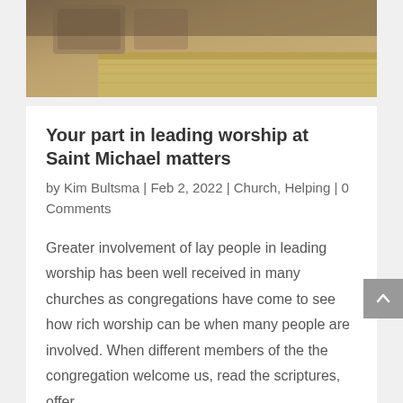[Figure (photo): A photograph showing wooden surfaces and baskets in warm brown tones, partially visible at the top of the page]
Your part in leading worship at Saint Michael matters
by Kim Bultsma | Feb 2, 2022 | Church, Helping | 0 Comments
Greater involvement of lay people in leading worship has been well received in many churches as congregations have come to see how rich worship can be when many people are involved. When different members of the the congregation welcome us, read the scriptures, offer…
read more